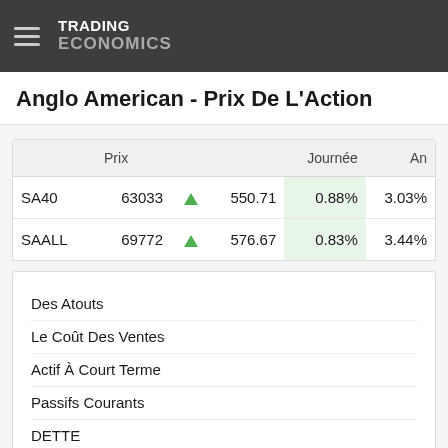TRADING ECONOMICS
Anglo American - Prix De L'Action
|  | Prix |  |  | Journée | An |
| --- | --- | --- | --- | --- | --- |
| SA40 | 63033 | ▲ | 550.71 | 0.88% | 3.03% |
| SAALL | 69772 | ▲ | 576.67 | 0.83% | 3.44% |
Des Atouts
Le Coût Des Ventes
Actif À Court Terme
Passifs Courants
DETTE
Rendement Du Dividende